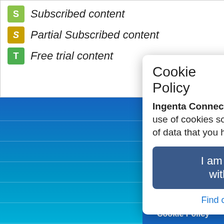S  Subscribed content
S  Partial Subscribed content
T  Free trial content
Browse by Public
Browse by Subj
Browse by Publis
Advanced Sear
About us
Researchers
Librarians
New featured ti
Help
Contact us
[Figure (screenshot): Cookie Policy popup dialog with title 'Cookie Policy', body text 'Ingenta Connect website makes use of cookies so as to keep track of data that you have filled in.', a blue 'I am Happy with this' button, and a 'Find out more' link]
Cookie Policy